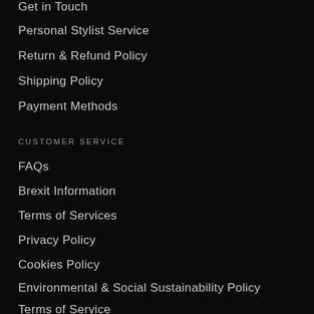Get in Touch
Personal Stylist Service
Return & Refund Policy
Shipping Policy
Payment Methods
CUSTOMER SERVICE
FAQs
Brexit Information
Terms of Services
Privacy Policy
Cookies Policy
Environmental & Social Sustainability Policy
Terms of Service